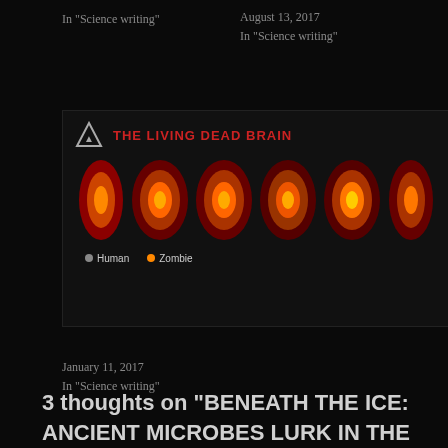In “Science writing”
August 13, 2017
In “Science writing”
[Figure (photo): Brain scan comparison image titled 'THE LIVING DEAD BRAIN' showing multiple brain cross-sections in orange/yellow heat map style, with a legend showing Human and Zombie categories]
January 11, 2017
In “Science writing”
3 thoughts on “BENEATH THE ICE: ANCIENT MICROBES LURK IN THE DARKNESS”